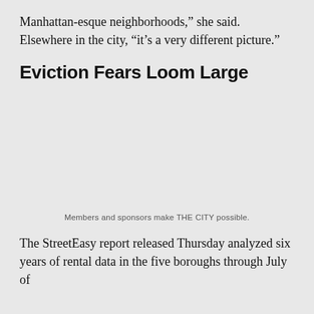Manhattan-esque neighborhoods,” she said. Elsewhere in the city, “it’s a very different picture.”
Eviction Fears Loom Large
[Figure (other): Advertisement placeholder area with caption: Members and sponsors make THE CITY possible.]
Members and sponsors make THE CITY possible.
The StreetEasy report released Thursday analyzed six years of rental data in the five boroughs through July of